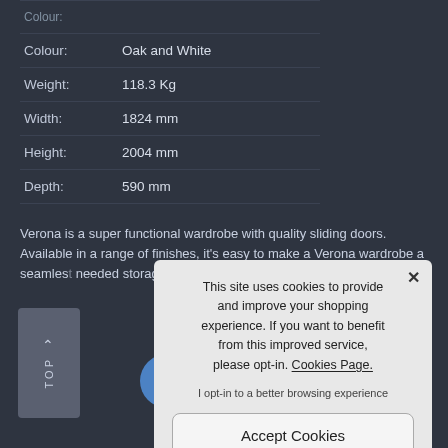| Property | Value |
| --- | --- |
| Colour: | Oak and White |
| Weight: | 118.3 Kg |
| Width: | 1824 mm |
| Height: | 2004 mm |
| Depth: | 590 mm |
Verona is a super functional wardrobe with quality sliding doors. Available in a range of finishes, it's easy to make a Verona wardrobe a seamless needed storage for y...
[Figure (screenshot): Cookie consent popup overlay: 'This site uses cookies to provide and improve your shopping experience. If you want to benefit from this improved service, please opt-in. Cookies Page.' with 'I opt-in to a better browsing experience' text and 'Accept Cookies' button.]